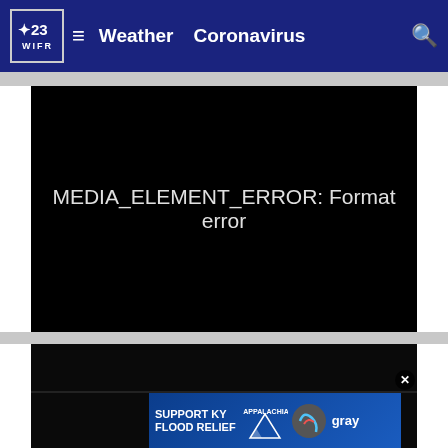23 WIFR ≡ Weather Coronavirus 🔍
[Figure (screenshot): Black video player showing error message: MEDIA_ELEMENT_ERROR: Format error]
[Figure (screenshot): Second black video player (partially visible at bottom), with ad banner overlay: SUPPORT KY FLOOD RELIEF / APPALACHIA RISES / gray logo]